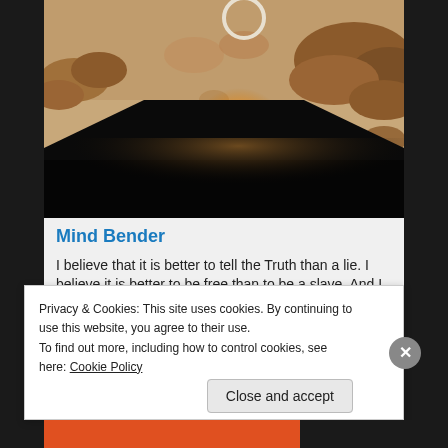[Figure (illustration): Digital artwork showing a sunset/eclipse scene with clouds in warm brown and orange tones against a tan sky. A dark triangular or pyramidal silhouette in the foreground with a glowing orange sun or eclipse circle visible behind it. A white circular ring near the top.]
Mind Bender
I believe that it is better to tell the Truth than a lie. I believe it is better to be free than to be a slave. And I
Privacy & Cookies: This site uses cookies. By continuing to use this website, you agree to their use.
To find out more, including how to control cookies, see here: Cookie Policy
Close and accept